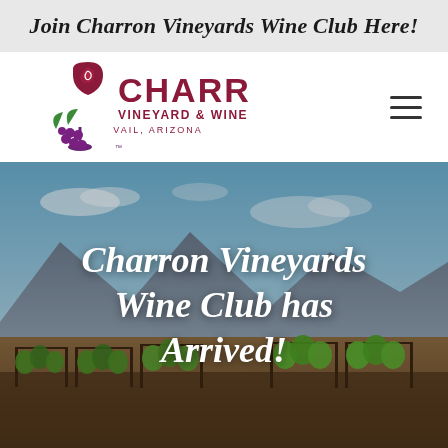Join Charron Vineyards Wine Club Here!
[Figure (logo): Charron Vineyard & Winery logo with a stylized rose/wine glass and grape cluster, text reading CHARRON VINEYARD & WINERY VAIL, ARIZONA in dark red/maroon]
[Figure (photo): Outdoor vineyard scene with rows of green grapevines in an arid Arizona desert landscape, mountains visible in the background under a blue sky with clouds]
Charron Vineyards Wine Club has Arrived!